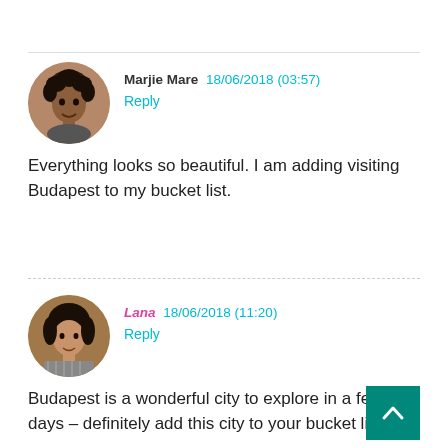Marjie Mare 18/06/2018 (03:57) Reply — Everything looks so beautiful. I am adding visiting Budapest to my bucket list.
Lana 18/06/2018 (11:20) Reply — Budapest is a wonderful city to explore in a few days – definitely add this city to your bucket list 🙂